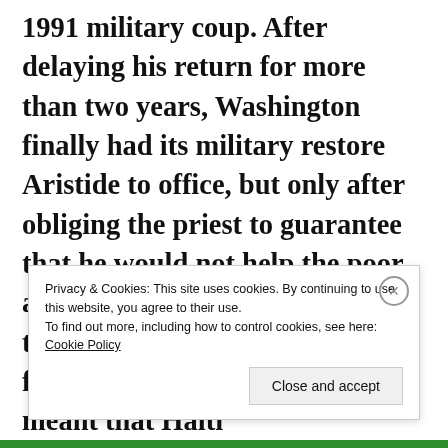1991 military coup. After delaying his return for more than two years, Washington finally had its military restore Aristide to office, but only after obliging the priest to guarantee that he would not help the poor at the expense of the rich, and that he would stick closely to free-market economics. This meant that Haiti
Privacy & Cookies: This site uses cookies. By continuing to use this website, you agree to their use.
To find out more, including how to control cookies, see here: Cookie Policy
Close and accept